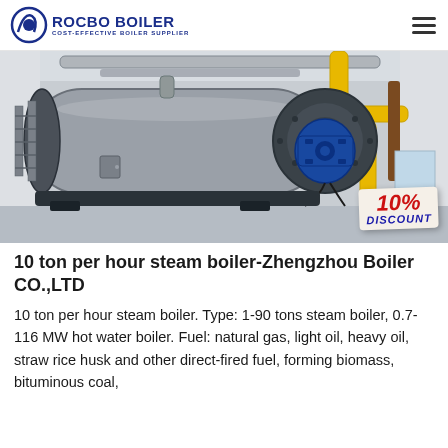ROCBO BOILER — COST-EFFECTIVE BOILER SUPPLIER
[Figure (photo): Industrial steam boiler in a factory setting with yellow gas pipes, blue burner motor, and a 10% DISCOUNT badge overlay]
10 ton per hour steam boiler-Zhengzhou Boiler CO.,LTD
10 ton per hour steam boiler. Type: 1-90 tons steam boiler, 0.7-116 MW hot water boiler. Fuel: natural gas, light oil, heavy oil, straw rice husk and other direct-fired fuel, forming biomass, bituminous coal,